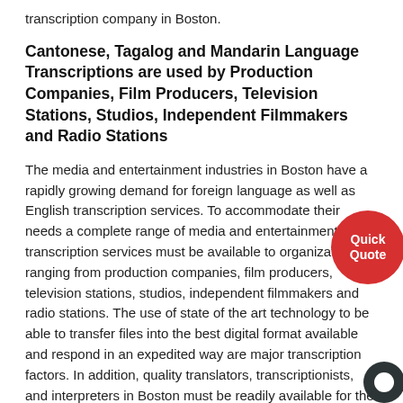transcription company in Boston.
Cantonese, Tagalog and Mandarin Language Transcriptions are used by Production Companies, Film Producers, Television Stations, Studios, Independent Filmmakers and Radio Stations
The media and entertainment industries in Boston have a rapidly growing demand for foreign language as well as English transcription services. To accommodate their needs a complete range of media and entertainment transcription services must be available to organizations ranging from production companies, film producers, television stations, studios, independent filmmakers and radio stations. The use of state of the art technology to be able to transfer files into the best digital format available and respond in an expedited way are major transcription factors. In addition, quality translators, transcriptionists, and interpreters in Boston must be readily available for the rapid turnarounds the media industry requires. Transcription projects are often requested in English to English; however, a rapidly rising global economy has generated needs in a variety of languages other than